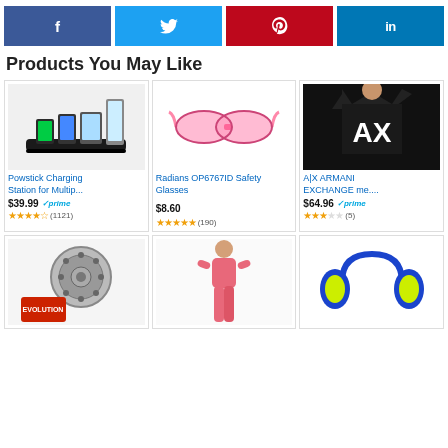[Figure (infographic): Social share buttons: Facebook (blue), Twitter (light blue), Pinterest (red), LinkedIn (dark blue)]
Products You May Like
[Figure (photo): Powstick Charging Station - multi-device dock with tablets and phones charging]
Powstick Charging Station for Multip...
$39.99 prime (1121 reviews, ~4 stars)
[Figure (photo): Radians OP6767ID Safety Glasses - pink transparent wraparound lenses]
Radians OP6767ID Safety Glasses
$8.60 (190 reviews, ~4.5 stars)
[Figure (photo): A|X Armani Exchange men's black t-shirt with AX logo]
A|X ARMANI EXCHANGE me....
$64.96 prime (5 reviews, ~3 stars)
[Figure (photo): Brake rotors and Evolution brake pads set]
[Figure (photo): Woman in pink outfit standing]
[Figure (photo): Blue and yellow/green headphones]